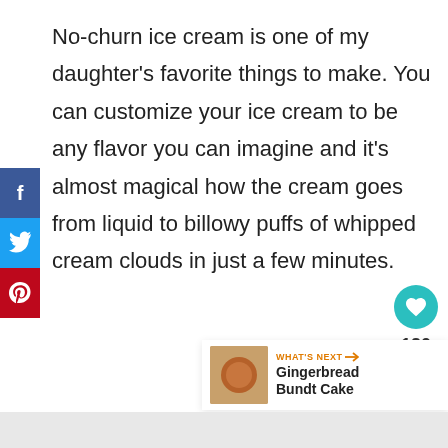No-churn ice cream is one of my daughter's favorite things to make. You can customize your ice cream to be any flavor you can imagine and it's almost magical how the cream goes from liquid to billowy puffs of whipped cream clouds in just a few minutes.
[Figure (infographic): Social media share buttons sidebar: Facebook (blue), Twitter (light blue), Pinterest (red) with icons f, bird, p]
[Figure (infographic): Heart/save button (teal circle) showing count 120, and share button below it]
[Figure (infographic): What's Next widget with thumbnail image and text: WHAT'S NEXT → Gingerbread Bundt Cake]